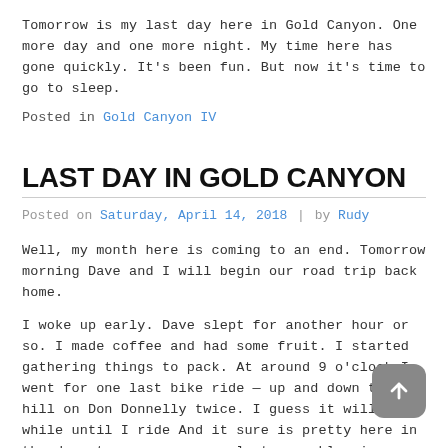Tomorrow is my last day here in Gold Canyon. One more day and one more night. My time here has gone quickly. It's been fun. But now it's time to go to sleep.
Posted in Gold Canyon IV
LAST DAY IN GOLD CANYON
Posted on Saturday, April 14, 2018 | by Rudy
Well, my month here is coming to an end. Tomorrow morning Dave and I will begin our road trip back home.
I woke up early. Dave slept for another hour or so. I made coffee and had some fruit. I started gathering things to pack. At around 9 o'clock I went for one last bike ride — up and down the hill on Don Donnelly twice. I guess it will be a while until I ride And it sure is pretty here in the desert now — so many plants are blooming. Dave went on a bike ride after I got back. I took the bikes apart so they are ready to pack into the van